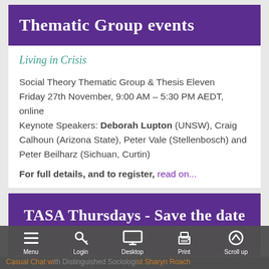Thematic Group events
Living in Crisis
Social Theory Thematic Group & Thesis Eleven
Friday 27th November, 9:00 AM – 5:30 PM AEDT, online
Keynote Speakers: Deborah Lupton (UNSW), Craig Calhoun (Arizona State), Peter Vale (Stellenbosch) and Peter Beilharz (Sichuan, Curtin)
For full details, and to register, read on...
TASA Thursdays - Save the date
Casual Chat with Distinguished Sociologist Sharyn Roach